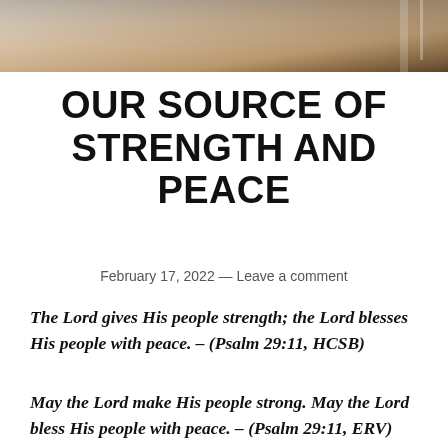[Figure (photo): Header image with a warm tan/brown gradient background, appears to show a blurred architectural or natural scene]
OUR SOURCE OF STRENGTH AND PEACE
February 17, 2022 — Leave a comment
The Lord gives His people strength; the Lord blesses His people with peace. – (Psalm 29:11, HCSB)
May the Lord make His people strong. May the Lord bless His people with peace. – (Psalm 29:11, ERV)